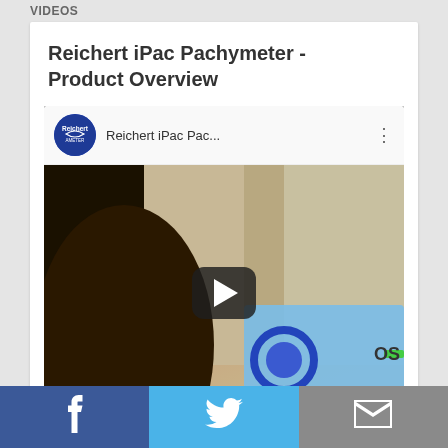VIDEOS
Reichert iPac Pachymeter - Product Overview
[Figure (screenshot): YouTube video thumbnail for Reichert iPac Pachymeter product overview video, showing a close-up of the iPac device with a play button overlay. The video header shows the Reichert logo (blue circle) and title 'Reichert iPac Pac...' with a three-dot menu.]
Facebook  Twitter  Email